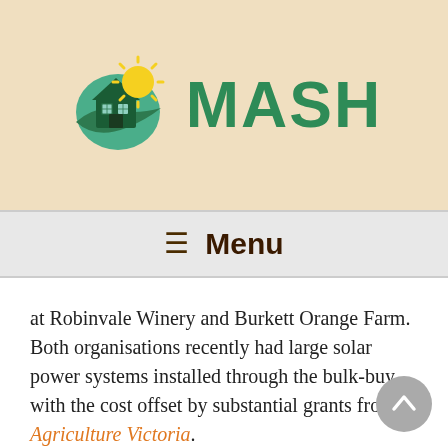[Figure (logo): MASH logo with a green house, sun, and bird, alongside the text MASH in green]
☰  Menu
at Robinvale Winery and Burkett Orange Farm. Both organisations recently had large solar power systems installed through the bulk-buy with the cost offset by substantial grants from Agriculture Victoria.
To be eligible for a grant – worth $20k to $250k – you must be a Victorian primary producer with